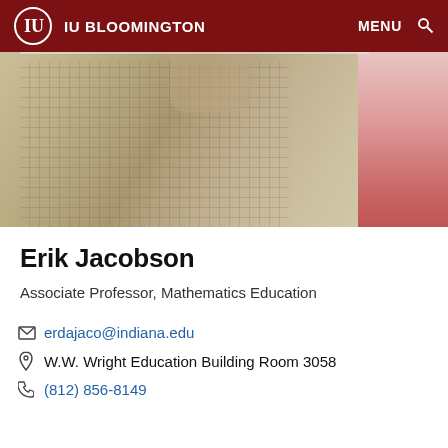IU BLOOMINGTON
[Figure (photo): Cropped photo of a person wearing a plaid/checkered shirt, with a pink background visible on the right side. Only the neck/collar area and upper torso are visible.]
Erik Jacobson
Associate Professor, Mathematics Education
erdajaco@indiana.edu
W.W. Wright Education Building Room 3058
(812) 856-8149